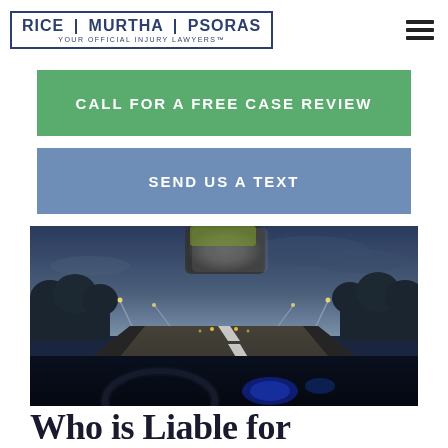[Figure (logo): Rice Murtha Psoras law firm logo with tagline 'Your Official Injury Lawyers™']
CALL FOR A FREE CASE REVIEW
SEND US A TEXT
[Figure (photo): View from inside a car on a highway at dusk/night, with dashboard visible in foreground and road stretching ahead with streetlights]
Who is Liable for